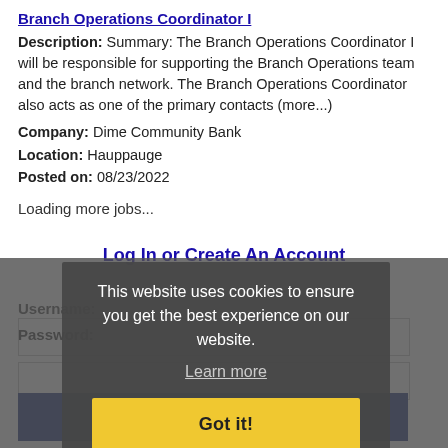Branch Operations Coordinator I
Description: Summary: The Branch Operations Coordinator I will be responsible for supporting the Branch Operations team and the branch network. The Branch Operations Coordinator also acts as one of the primary contacts (more...)
Company: Dime Community Bank
Location: Hauppauge
Posted on: 08/23/2022
Loading more jobs...
Log In or Create An Account
Username:
Password:
This website uses cookies to ensure you get the best experience on our website.
Learn more
Got it!
Log In